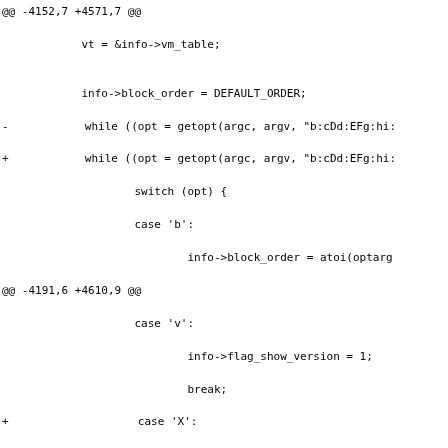code diff showing modifications to a C source file involving getopt, flag_xen, flag_vmlinux, and Xen/ELF dumpfile error handling